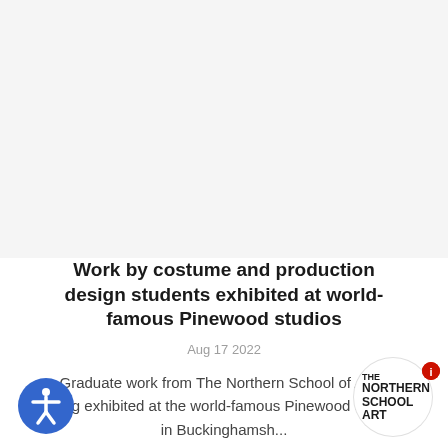[Figure (photo): Top portion of the page with a white/light gray image placeholder area representing a photo of student costume/production design work at Pinewood Studios]
Work by costume and production design students exhibited at world-famous Pinewood studios
Aug 17 2022
Graduate work from The Northern School of Art is being exhibited at the world-famous Pinewood Studios in Buckinghamsh...
READ MORE